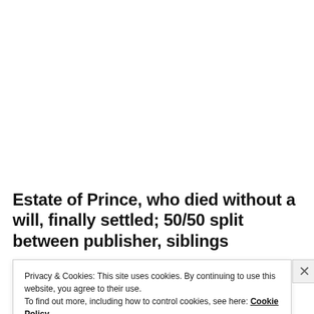Estate of Prince, who died without a will, finally settled; 50/50 split between publisher, siblings
Privacy & Cookies: This site uses cookies. By continuing to use this website, you agree to their use.
To find out more, including how to control cookies, see here: Cookie Policy
Close and accept